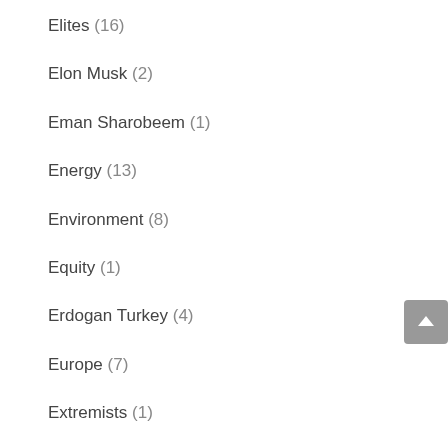Elites (16)
Elon Musk (2)
Eman Sharobeem (1)
Energy (13)
Environment (8)
Equity (1)
Erdogan Turkey (4)
Europe (7)
Extremists (1)
Facebook (1)
Fact Checkers (1)
Fairfax (2)